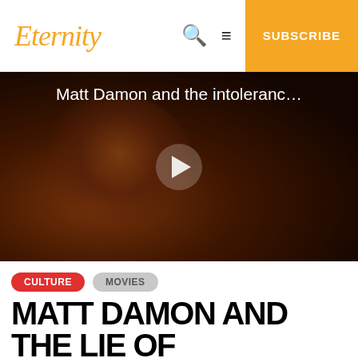Eternity — SUBSCRIBE
[Figure (screenshot): Video thumbnail showing a man with broken glasses and blood on his face, against a dark background, with a play button overlay. Title text reads: Matt Damon and the intoleranc…]
CULTURE
MOVIES
MATT DAMON AND THE LIE OF TOLERANCE